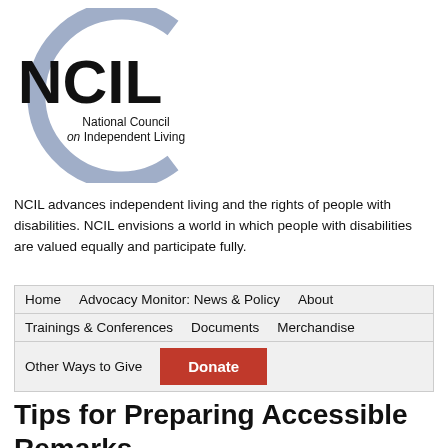[Figure (logo): NCIL logo — large arc circle in light blue/grey with bold NCIL text and 'National Council on Independent Living' subtitle]
NCIL advances independent living and the rights of people with disabilities. NCIL envisions a world in which people with disabilities are valued equally and participate fully.
Home
Advocacy Monitor: News & Policy
About
Trainings & Conferences
Documents
Merchandise
Other Ways to Give
Donate
Tips for Preparing Accessible Remarks